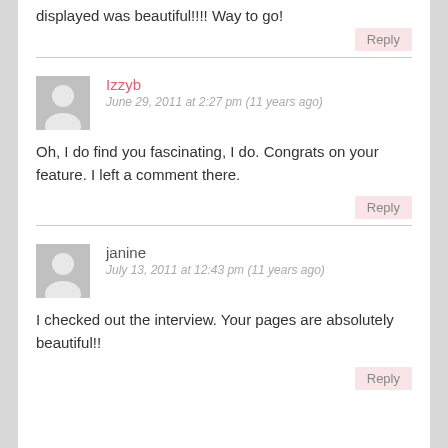displayed was beautiful!!!! Way to go!
Reply
Izzyb
June 29, 2011 at 2:27 pm (11 years ago)
Oh, I do find you fascinating, I do. Congrats on your feature. I left a comment there.
Reply
janine
July 13, 2011 at 12:43 pm (11 years ago)
I checked out the interview. Your pages are absolutely beautiful!!
Reply